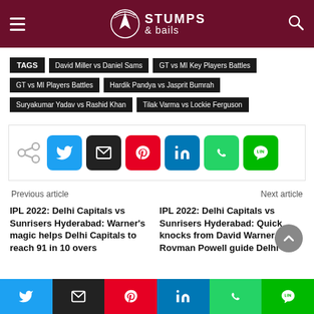Stumps & Bails
TAGS  David Miller vs Daniel Sams  GT vs MI Key Players Battles  GT vs MI Players Battles  Hardik Pandya vs Jasprit Bumrah  Suryakumar Yadav vs Rashid Khan  Tilak Varma vs Lockie Ferguson
[Figure (infographic): Social share buttons: native share, Twitter, Email, Pinterest, LinkedIn, WhatsApp, LINE]
Previous article   Next article
IPL 2022: Delhi Capitals vs Sunrisers Hyderabad: Warner's magic helps Delhi Capitals to reach 91 in 10 overs
IPL 2022: Delhi Capitals vs Sunrisers Hyderabad: Quick knocks from David Warner, Rovman Powell guide Delhi